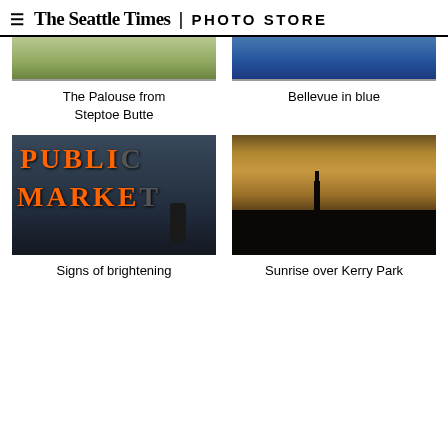The Seattle Times | PHOTO STORE
[Figure (photo): The Palouse from Steptoe Butte - aerial landscape photo, partially visible at top]
The Palouse from Steptoe Butte
[Figure (photo): Bellevue in blue - cityscape photo, partially visible at top]
Bellevue in blue
[Figure (photo): Signs of brightening - Public Market sign with silhouetted figure walking past illuminated orange neon letters]
Signs of brightening
[Figure (photo): Sunrise over Kerry Park - Seattle skyline silhouette with Space Needle against golden sunrise sky]
Sunrise over Kerry Park